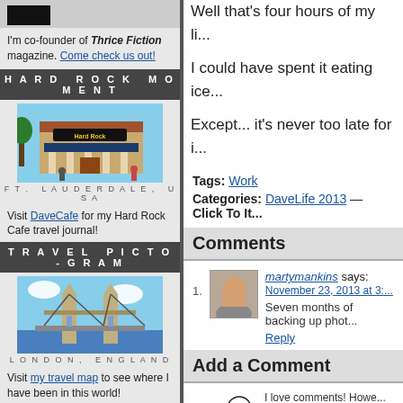[Figure (photo): Small black rectangular image at top of sidebar]
I'm co-founder of Thrice Fiction magazine. Come check us out!
HARD ROCK MOMENT
[Figure (photo): Hard Rock Cafe building in Ft. Lauderdale, USA]
FT. LAUDERDALE, USA
Visit DaveCafe for my Hard Rock Cafe travel journal!
TRAVEL PICTO-GRAM
[Figure (photo): Tower Bridge in London, England]
LONDON, ENGLAND
Visit my travel map to see where I have been in this world!
BADGEMANIA
[Figure (logo): Blogography.com! badge]
[Figure (logo): Entries Feed badge with green plus and orange RSS icons]
Well that's four hours of my li...
I could have spent it eating ice...
Except... it's never too late for i...
Tags: Work
Categories: DaveLife 2013 — Click To It
Comments
martymankins says: November 23, 2013 at 3:
Seven months of backing up phot...
Reply
Add a Comment
I love comments! Howe... contribute? Don't bothe... PLEASE NOTE: My co... without JavaScript, co...